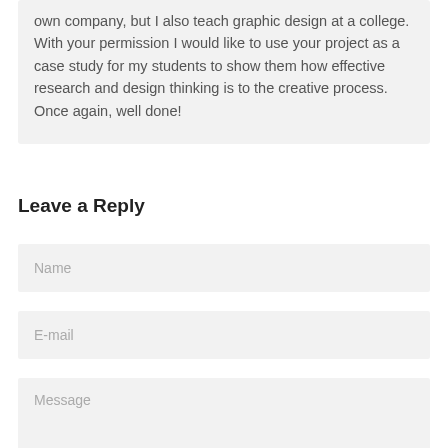own company, but I also teach graphic design at a college. With your permission I would like to use your project as a case study for my students to show them how effective research and design thinking is to the creative process. Once again, well done!
Leave a Reply
Name
E-mail
Message